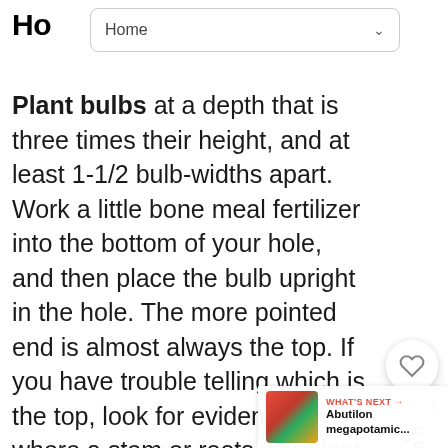Ho
Home
Plant bulbs at a depth that is three times their height, and at least 1-1/2 bulb-widths apart. Work a little bone meal fertilizer into the bottom of your hole, and then place the bulb upright in the hole. The more pointed end is almost always the top. If you have trouble telling which is the top, look for evidence of where a stem or roots were last year. If in doubt, plant them sideways. Fill in with soil gently, making sure there are no rocks or clods that would impede the bulb's stem. When planting a gr number of bulbs, dig out an area to the specified depth, place bulbs and rep This ensures that ground has been properly